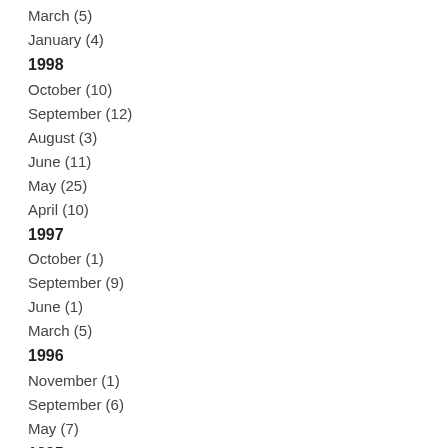March (5)
January (4)
1998
October (10)
September (12)
August (3)
June (11)
May (25)
April (10)
1997
October (1)
September (9)
June (1)
March (5)
1996
November (1)
September (6)
May (7)
1995
November (12)
May (7)
1994
November (6)
May (6)
1993
November (8)
May (8)
January (1)